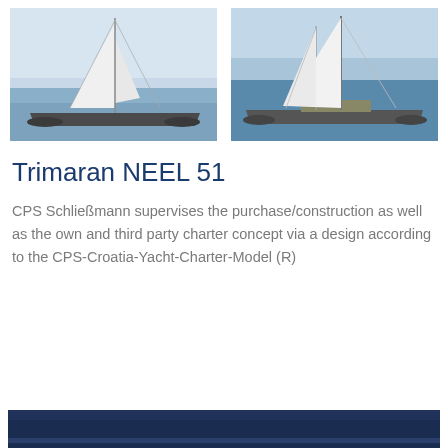[Figure (photo): Two sailing catamarans/trimarans at sea side by side — left image shows a trimaran with white sails on calm water, right image shows a catamaran under full sail in blue water]
Trimaran NEEL 51
CPS Schließmann supervises the purchase/construction as well as the own and third party charter concept via a design according to the CPS-Croatia-Yacht-Charter-Model (R)
[Figure (photo): Partial view of a dark blue boat hull or yacht at the bottom of the page]